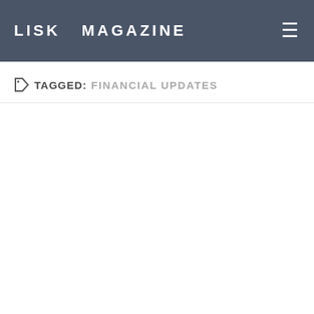LISK MAGAZINE
TAGGED: FINANCIAL UPDATES